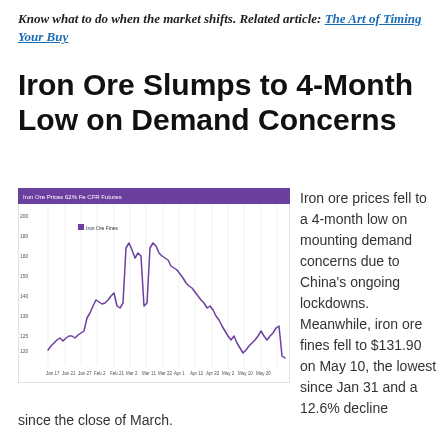Know what to do when the market shifts. Related article: The Art of Timing Your Buy
Iron Ore Slumps to 4-Month Low on Demand Concerns
[Figure (line-chart): Line chart showing iron ore prices from Jan to May, rising from a low around $120 in early January, peaking around $160 in April, then sharply declining to roughly $131.90 by May 10.]
Iron ore prices fell to a 4-month low on mounting demand concerns due to China's ongoing lockdowns. Meanwhile, iron ore fines fell to $131.90 on May 10, the lowest since Jan 31 and a 12.6% decline since the close of March.